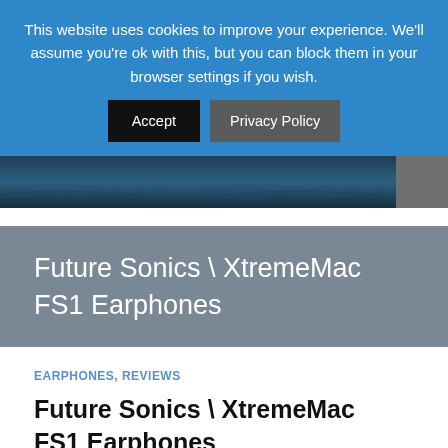This website uses cookies to improve your experience. We'll assume you're ok with this, but you can block them in your browser settings if you wish. Accept Privacy Policy
[Figure (photo): Dark blue water/waves background image with a gray rectangle on the right side]
Future Sonics \ XtremeMac FS1 Earphones
EARPHONES, REVIEWS
Future Sonics \ XtremeMac FS1 Earphones
Tarkan  4, March 2007  3 Comments